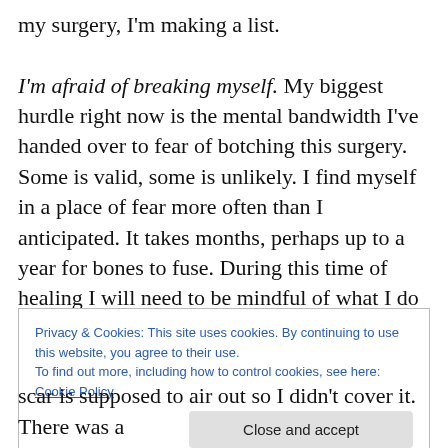my surgery, I'm making a list. I'm afraid of breaking myself. My biggest hurdle right now is the mental bandwidth I've handed over to fear of botching this surgery. Some is valid, some is unlikely. I find myself in a place of fear more often than I anticipated. It takes months, perhaps up to a year for bones to fuse. During this time of healing I will need to be mindful of what I do and do not do physically. Which activities are considered high risk and should be avoided? Vigilance will be my constant companion for the foreseeable future.
Privacy & Cookies: This site uses cookies. By continuing to use this website, you agree to their use. To find out more, including how to control cookies, see here: Cookie Policy
scar is supposed to air out so I didn't cover it. There was a